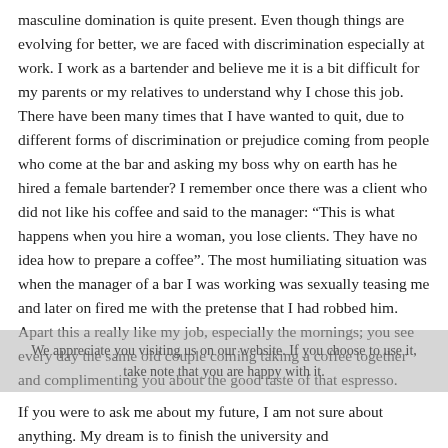masculine domination is quite present. Even though things are evolving for better, we are faced with discrimination especially at work. I work as a bartender and believe me it is a bit difficult for my parents or my relatives to understand why I chose this job. There have been many times that I have wanted to quit, due to different forms of discrimination or prejudice coming from people who come at the bar and asking my boss why on earth has he hired a female bartender? I remember once there was a client who did not like his coffee and said to the manager: “This is what happens when you hire a woman, you lose clients. They have no idea how to prepare a coffee”. The most humiliating situation was when the manager of a bar I was working was sexually teasing me and later on fired me with the pretense that I had robbed him. Apart this a really like my job, especially the mornings; you see every day the same old couple coming taking a coffee together and complimenting you about the good taste of that espresso.
We appreciate you visiting us on our website. If you choose to use it, take note that you are happy with it.
If you were to ask me about my future, I am not sure about anything. My dream is to finish the university and